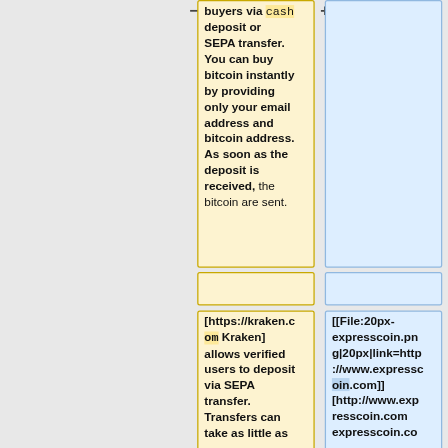buyers via cash deposit or SEPA transfer. You can buy bitcoin instantly by providing only your email address and bitcoin address. As soon as the deposit is received, the bitcoin are sent.
[https://kraken.com Kraken] allows verified users to deposit via SEPA transfer. Transfers can take as little as
[[File:20px-expresscoin.png|20px|link=http://www.expresscoin.com]] [http://www.expresscoin.com expresscoin.co